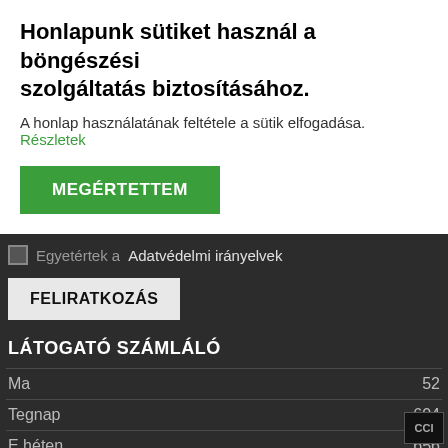HÍRLISTA FELIRATKOZÁS
Honlapunk sütiket használ a böngészési szolgáltatás biztosításához.
A honlap használatának feltétele a sütik elfogadása. Részletek
MEGÉRTETTEM
E-mail
Egyetértek a Adatvédelmi irányelvek
FELIRATKOZÁS
LÁTOGATÓ SZÁMLÁLÓ
|  |  |
| --- | --- |
| Ma | 52 |
| Tegnap | 604 |
| E héten | 656 |
| E hónapban | 3077 |
| Összesen | 336987i |